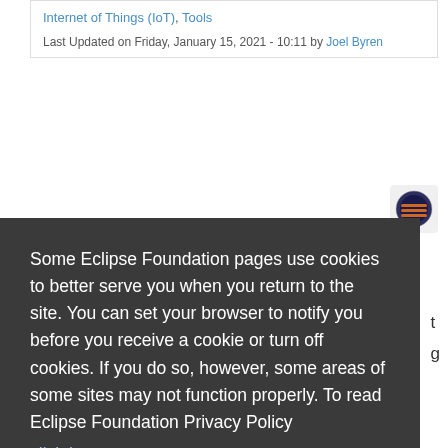Internet of Things (IoT), Tools
Last Updated on Friday, January 15, 2021 - 10:11 by Joel Byren
[Figure (logo): Eclipse IDE logo icon — circular emblem with horizontal stripes on dark background]
Some Eclipse Foundation pages use cookies to better serve you when you return to the site. You can set your browser to notify you before you receive a cookie or turn off cookies. If you do so, however, some areas of some sites may not function properly. To read Eclipse Foundation Privacy Policy click here.
Decline
Allow cookies
C-Sky Development Suite